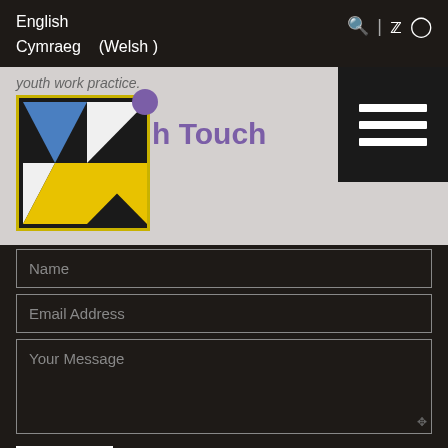English
Cymraeg (Welsh)
[Figure (screenshot): Website header banner with logo (geometric triangles: blue, white, yellow), purple dot, purple 'h Touch' text, and hamburger menu icon. Background text: 'youth work practice.']
Name
Email Address
Your Message
Send
Navigation